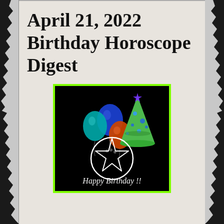April 21, 2022 Birthday Horoscope Digest
[Figure (illustration): Birthday illustration on black background featuring colorful balloons (blue, teal, orange), a pentagram star in a circle, a green party hat with blue stars, and cursive text 'Happy Birthday !!' at the bottom. Surrounded by lime green border.]